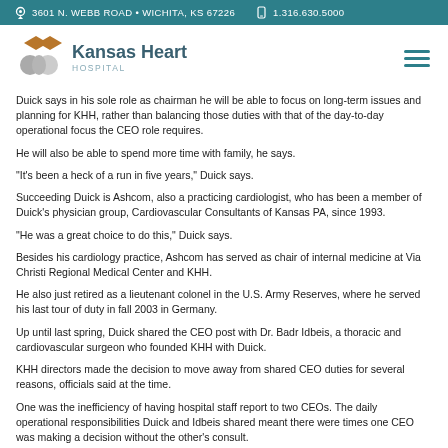3601 N. WEBB ROAD • WICHITA, KS 67226   1.316.630.5000
[Figure (logo): Kansas Heart Hospital logo with overlapping diamond/circle shapes in brown and gray, beside text 'Kansas Heart HOSPITAL']
Duick says in his sole role as chairman he will be able to focus on long-term issues and planning for KHH, rather than balancing those duties with that of the day-to-day operational focus the CEO role requires.
He will also be able to spend more time with family, he says.
"It's been a heck of a run in five years," Duick says.
Succeeding Duick is Ashcom, also a practicing cardiologist, who has been a member of Duick's physician group, Cardiovascular Consultants of Kansas PA, since 1993.
"He was a great choice to do this," Duick says.
Besides his cardiology practice, Ashcom has served as chair of internal medicine at Via Christi Regional Medical Center and KHH.
He also just retired as a lieutenant colonel in the U.S. Army Reserves, where he served his last tour of duty in fall 2003 in Germany.
Up until last spring, Duick shared the CEO post with Dr. Badr Idbeis, a thoracic and cardiovascular surgeon who founded KHH with Duick.
KHH directors made the decision to move away from shared CEO duties for several reasons, officials said at the time.
One was the inefficiency of having hospital staff report to two CEOs. The daily operational responsibilities Duick and Idbeis shared meant there were times one CEO was making a decision without the other's consult.